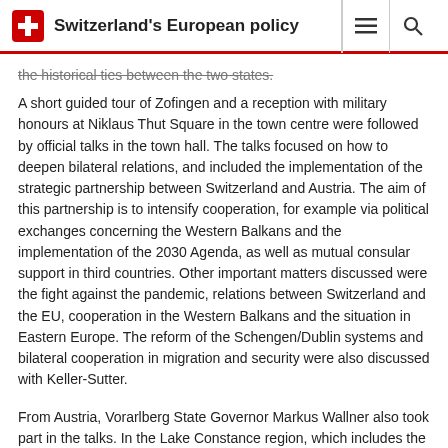Switzerland's European policy
the historical ties between the two states.
A short guided tour of Zofingen and a reception with military honours at Niklaus Thut Square in the town centre were followed by official talks in the town hall. The talks focused on how to deepen bilateral relations, and included the implementation of the strategic partnership between Switzerland and Austria. The aim of this partnership is to intensify cooperation, for example via political exchanges concerning the Western Balkans and the implementation of the 2030 Agenda, as well as mutual consular support in third countries. Other important matters discussed were the fight against the pandemic, relations between Switzerland and the EU, cooperation in the Western Balkans and the situation in Eastern Europe. The reform of the Schengen/Dublin systems and bilateral cooperation in migration and security were also discussed with Keller-Sutter.
From Austria, Vorarlberg State Governor Markus Wallner also took part in the talks. In the Lake Constance region, which includes the Austrian state of Vorarlberg, cross-border relations and cooperation between the two countries have a long way to go, with effects on everyday life for